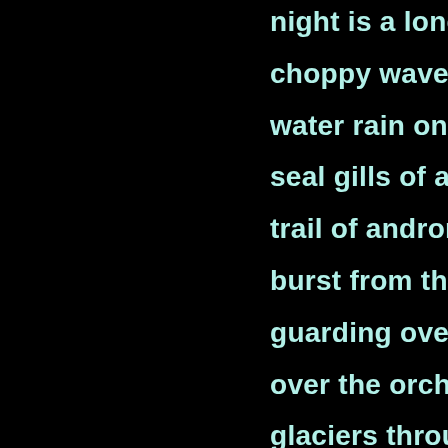night is a lonely place in the hood / choppy waves a dim beacon the fr / water rain on the salt skin the rubb / seal gills of a man lie within my he / trail of andromeda in eastward ski / burst from the nothingness a cold / guarding over our eden eyes of bla / over the orchards the land is so m / glaciers through palaces and mina / incision in poppy watch the treacle / vision webbed fingers pull me in w / fits into the chest mind has settled / peaceful island dusk with a soft wh / on the surface in tiger striped blac / remember the way you moved be